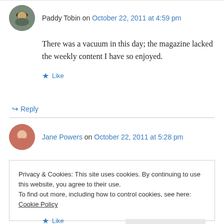Paddy Tobin on October 22, 2011 at 4:59 pm
There was a vacuum in this day; the magazine lacked the weekly content I have so enjoyed.
Like
Reply
Jane Powers on October 22, 2011 at 5:28 pm
Privacy & Cookies: This site uses cookies. By continuing to use this website, you agree to their use.
To find out more, including how to control cookies, see here: Cookie Policy
Close and accept
Like